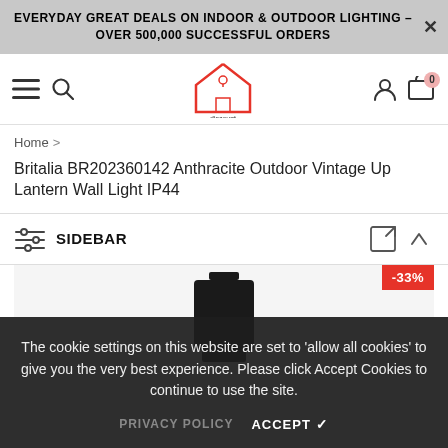EVERYDAY GREAT DEALS ON INDOOR & OUTDOOR LIGHTING – OVER 500,000 SUCCESSFUL ORDERS
[Figure (logo): Discount Home Lighting logo with red house icon]
Home > Britalia BR202360142 Anthracite Outdoor Vintage Up Lantern Wall Light IP44
Britalia BR202360142 Anthracite Outdoor Vintage Up Lantern Wall Light IP44
SIDEBAR
[Figure (photo): Anthracite outdoor vintage wall lantern product photo with -33% discount badge]
The cookie settings on this website are set to 'allow all cookies' to give you the very best experience. Please click Accept Cookies to continue to use the site.